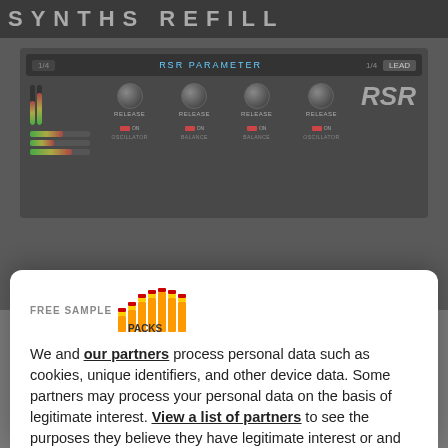[Figure (screenshot): Background showing a synth plugin UI (RSR branding) with knobs and level meters, partially obscured by a consent modal dialog]
[Figure (logo): FREE SAMPLE PACKS logo with colorful bar meter graphic]
We and our partners process personal data such as cookies, unique identifiers, and other device data. Some partners may process your personal data on the basis of legitimate interest. View a list of partners to see the purposes they believe they have legitimate interest or and how you can object to it. We and our partners may use your data for the listed purposes, you can manage your choices by clicking Manage Options. You can
MANAGE OPTIONS
AGREE AND PROCEED
Powered by 🛡 UniConsent